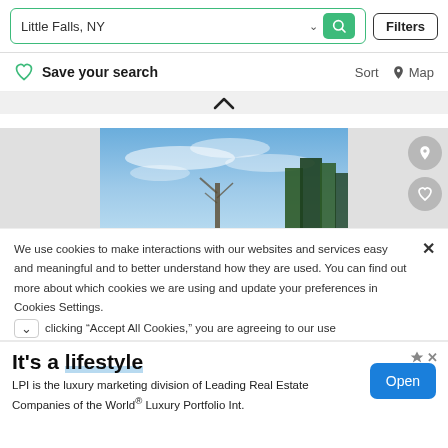Little Falls, NY — Filters
Save your search   Sort   Map
[Figure (photo): Sky with wispy clouds and tree silhouettes, real estate listing photo]
We use cookies to make interactions with our websites and services easy and meaningful and to better understand how they are used. You can find out more about which cookies we are using and update your preferences in Cookies Settings. clicking "Accept All Cookies," you are agreeing to our use
It's a lifestyle
LPI is the luxury marketing division of Leading Real Estate Companies of the World® Luxury Portfolio Int.